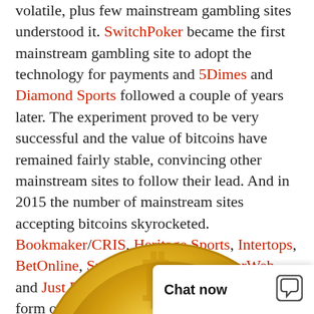volatile, plus few mainstream gambling sites understood it. SwitchPoker became the first mainstream gambling site to adopt the technology for payments and 5Dimes and Diamond Sports followed a couple of years later. The experiment proved to be very successful and the value of bitcoins have remained fairly stable, convincing other mainstream sites to follow their lead. And in 2015 the number of mainstream sites accepting bitcoins skyrocketed. Bookmaker/CRIS, Heritage Sports, Intertops, BetOnline, Sportsbetting.com, WagerWeb and Just Bet all decided to accept bitcoin as a form of payment and a slew of new bitcoin only
[Figure (illustration): Partial gold bitcoin coin visible at the bottom of the page]
Chat now